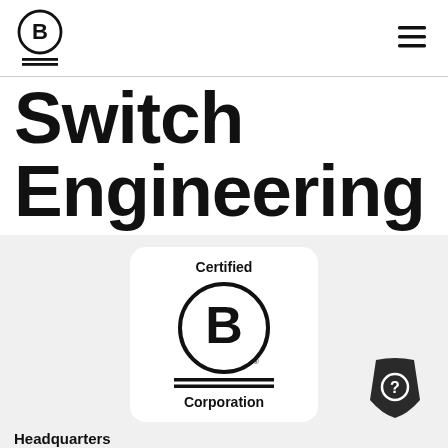[Figure (logo): B Corporation logo in header — circle with letter B inside, two horizontal lines below]
[Figure (logo): Hamburger menu icon (three horizontal lines) in top right]
Switch Engineering
[Figure (logo): Certified B Corporation badge — white card with rounded corners, text 'Certified' at top, large circle with B inside, two horizontal lines, text 'Corporation' at bottom]
[Figure (logo): Help/info shield icon in dark color with question mark]
Headquarters
Alberta, Canada